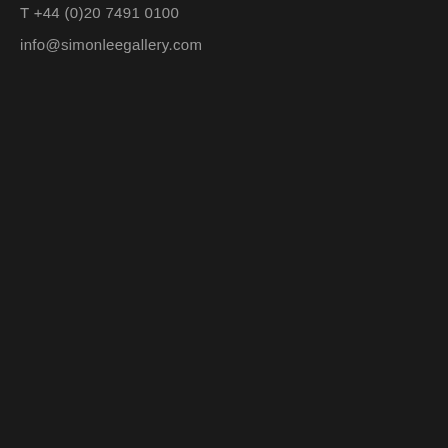T +44 (0)20 7491 0100
info@simonleegallery.com